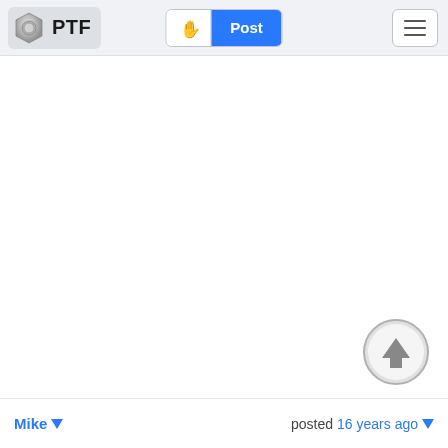PTF
[Figure (screenshot): Web forum navigation bar with nut logo, PTF text, hand/Post toggle button, and hamburger menu]
[Figure (other): Circular scroll-to-top arrow button in grey]
Mike posted 16 years ago